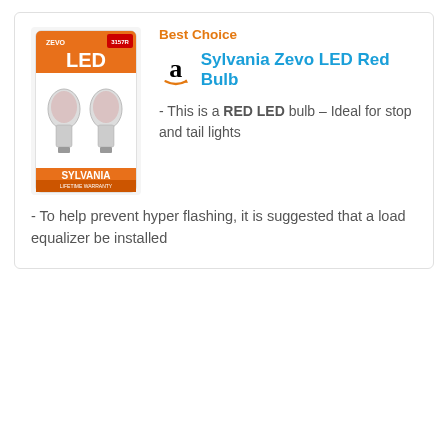Best Choice
[Figure (photo): Sylvania Zevo LED Red Bulb product package showing two LED bulbs with orange and white packaging, SYLVANIA branding, on a light gray background]
Sylvania Zevo LED Red Bulb
- This is a RED LED bulb – Ideal for stop and tail lights
- To help prevent hyper flashing, it is suggested that a load equalizer be installed